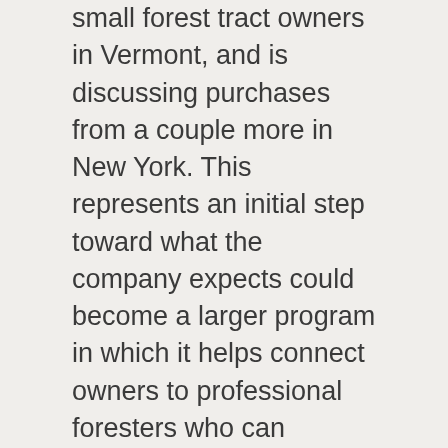International Paper has bought wood from a couple of small forest tract owners in Vermont, and is discussing purchases from a couple more in New York. This represents an initial step toward what the company expects could become a larger program in which it helps connect owners to professional foresters who can manage for both timber and habitat, Majuri said.
The mill employs about 600 and buys wood in a zone from Albany north to the Canadian border and west to Watertown—a zone dominated by the Adirondacks. To participate, owners would need at least 25 acres, and preferably 50, Majuri said. Deploying logging and trucking equipment is expensive, and requires a certain payoff.
Families with even smaller woodlots can make a difference, though. Packer told Cushing and several